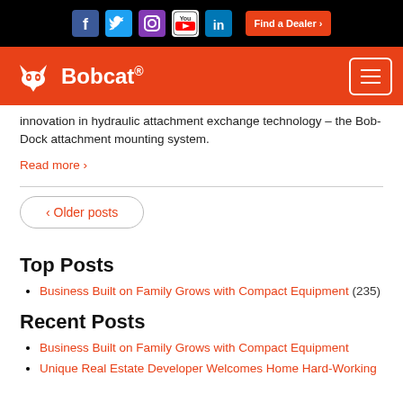[Figure (screenshot): Top navigation bar with social media icons (Facebook, Twitter, Instagram, YouTube, LinkedIn) and Find a Dealer button on black background]
[Figure (logo): Bobcat logo with lynx icon in white on orange/red navigation bar with hamburger menu on right]
innovation in hydraulic attachment exchange technology – the Bob-Dock attachment mounting system.
Read more ›
‹ Older posts
Top Posts
Business Built on Family Grows with Compact Equipment (235)
Recent Posts
Business Built on Family Grows with Compact Equipment
Unique Real Estate Developer Welcomes Home Hard-Working